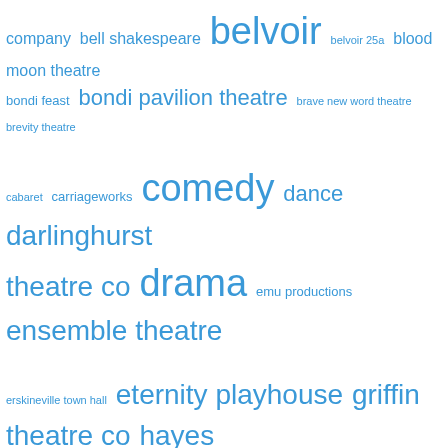[Figure (infographic): Tag cloud of theatre companies, venues, and genre tags in blue text at varying font sizes representing frequency/importance. Tags include: company, bell shakespeare, belvoir, belvoir 25a, blood moon theatre, bondi feast, bondi pavilion theatre, brave new word theatre, brevity theatre, cabaret, carriageworks, comedy, dance, darlinghurst theatre co, drama, emu productions, ensemble theatre, erskineville town hall, eternity playhouse, griffin theatre co, hayes theatre co, jackrabbit theatre, kings cross hotel, kings cross theatre, king street theatre, mad march hare, mardi gras 2014, montague basement, musical, new theatre, old 505 theatre, old fitzroy theatre, outhouse theatre co, pact, performance art, play, red line productions, review, roslyn packer theatre, sbw stables theatre, seymour-centre, siren theatre co, sport for jove, subtlenuance, sydney, sydney]